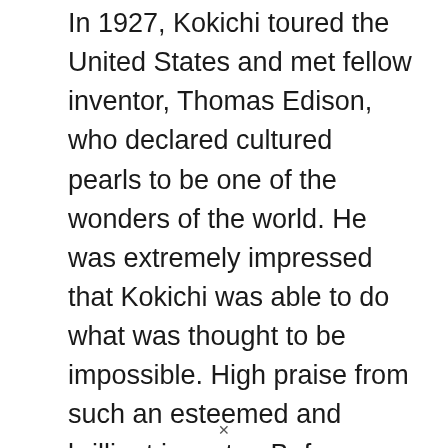In 1927, Kokichi toured the United States and met fellow inventor, Thomas Edison, who declared cultured pearls to be one of the wonders of the world. He was extremely impressed that Kokichi was able to do what was thought to be impossible. High praise from such an esteemed and brilliant inventor. Before World War II, Kokichi opened a shop on New York City's Fifth Avenue.
×